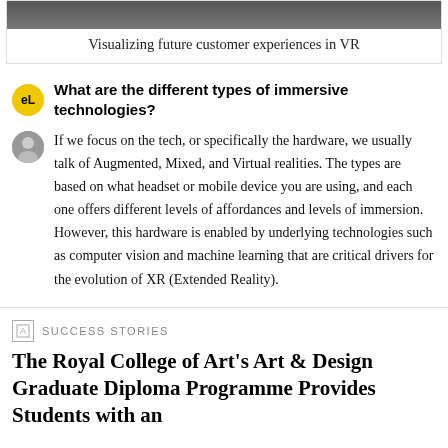[Figure (photo): Top portion of an image showing a person, partially cropped]
Visualizing future customer experiences in VR
What are the different types of immersive technologies?
If we focus on the tech, or specifically the hardware, we usually talk of Augmented, Mixed, and Virtual realities. The types are based on what headset or mobile device you are using, and each one offers different levels of affordances and levels of immersion. However, this hardware is enabled by underlying technologies such as computer vision and machine learning that are critical drivers for the evolution of XR (Extended Reality).
SUCCESS STORIES
The Royal College of Art's Art & Design Graduate Diploma Programme Provides Students with an